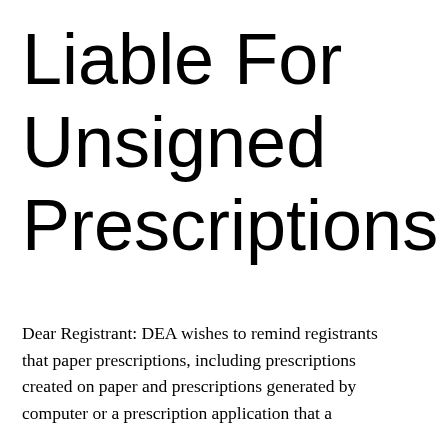Liable For Unsigned Prescriptions
Dear Registrant: DEA wishes to remind registrants that paper prescriptions, including prescriptions created on paper and prescriptions generated by computer or a prescription application that a registrant uses for obtaining prescriptions, must be